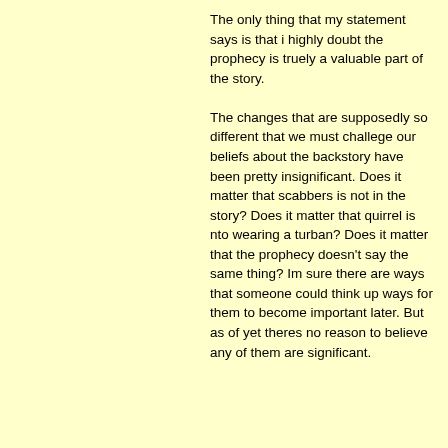The only thing that my statement says is that i highly doubt the prophecy is truely a valuable part of the story.

The changes that are supposedly so different that we must challege our beliefs about the backstory have been pretty insignificant. Does it matter that scabbers is not in the story? Does it matter that quirrel is nto wearing a turban? Does it matter that the prophecy doesn't say the same thing? Im sure there are ways that someone could think up ways for them to become important later. But as of yet theres no reason to believe any of them are significant.
Posts: 467 | Registered: Nov 2005 | IP: Logged | Report Post
Aris Katsaris
Member
Member # 4596
posted November 18, 2010 05:28 PM
quote:
Admittedly theres really nothing in the story that should make you believe this
There's some things in the story that are evidence, but they're not conclusive.
quote:
You are just accepting that this bit of cannon and it into the st...